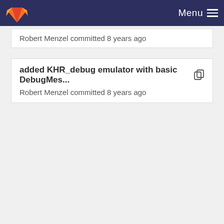Menu
Robert Menzel committed 8 years ago
added KHR_debug emulator with basic DebugMes...
Robert Menzel committed 8 years ago